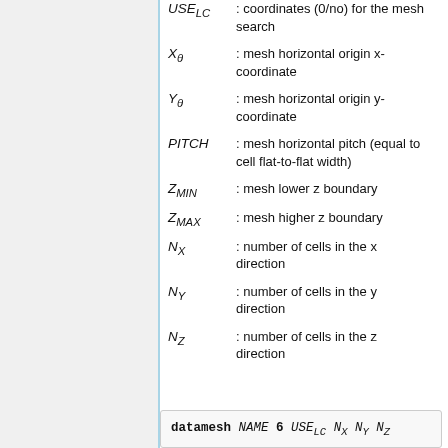USE_LC : coordinates (0/no) for the mesh search
X_0 : mesh horizontal origin x-coordinate
Y_0 : mesh horizontal origin y-coordinate
PITCH : mesh horizontal pitch (equal to cell flat-to-flat width)
Z_MIN : mesh lower z boundary
Z_MAX : mesh higher z boundary
N_X : number of cells in the x direction
N_Y : number of cells in the y direction
N_Z : number of cells in the z direction
datamesh NAME 6 USE_LC N_X N_Y N_Z